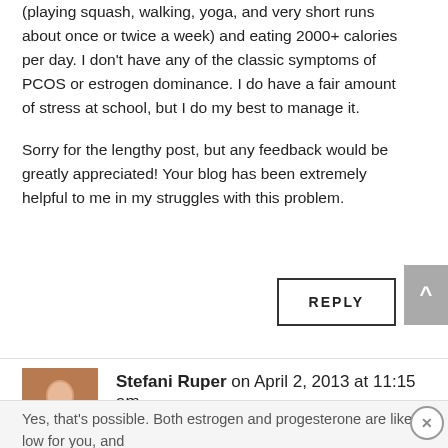(playing squash, walking, yoga, and very short runs about once or twice a week) and eating 2000+ calories per day. I don't have any of the classic symptoms of PCOS or estrogen dominance. I do have a fair amount of stress at school, but I do my best to manage it.
Sorry for the lengthy post, but any feedback would be greatly appreciated! Your blog has been extremely helpful to me in my struggles with this problem.
REPLY
Stefani Ruper on April 2, 2013 at 11:15 am
Yes, that's possible. Both estrogen and progesterone are likely low for you, and